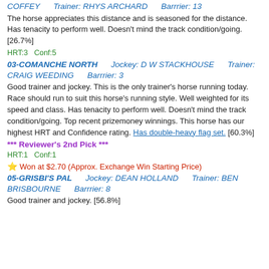COFFEY    Trainer: RHYS ARCHARD    Barrrier: 13
The horse appreciates this distance and is seasoned for the distance. Has tenacity to perform well. Doesn't mind the track condition/going. [26.7%]
HRT:3  Conf:5
03-COMANCHE NORTH    Jockey: D W STACKHOUSE    Trainer: CRAIG WEEDING    Barrrier: 3
Good trainer and jockey. This is the only trainer's horse running today. Race should run to suit this horse's running style. Well weighted for its speed and class. Has tenacity to perform well. Doesn't mind the track condition/going. Top recent prizemoney winnings. This horse has our highest HRT and Confidence rating. Has double-heavy flag set. [60.3%]
*** Reviewer's 2nd Pick ***
HRT:1  Conf:1
⭐ Won at $2.70 (Approx. Exchange Win Starting Price)
05-GRISBI'S PAL    Jockey: DEAN HOLLAND    Trainer: BEN BRISBOURNE    Barrrier: 8
Good trainer and jockey. [56.8%]